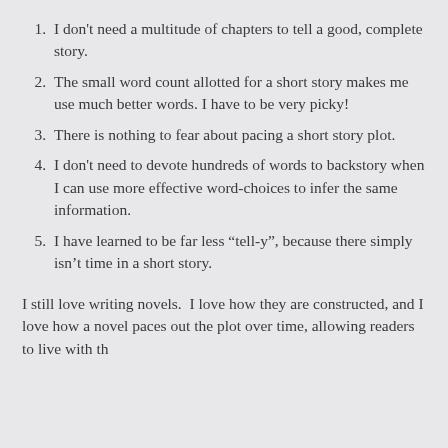I don't need a multitude of chapters to tell a good, complete story.
The small word count allotted for a short story makes me use much better words. I have to be very picky!
There is nothing to fear about pacing a short story plot.
I don't need to devote hundreds of words to backstory when I can use more effective word-choices to infer the same information.
I have learned to be far less “tell-y”, because there simply isn’t time in a short story.
I still love writing novels.  I love how they are constructed, and I love how a novel paces out the plot over time, allowing readers to live with the characters for much longer…